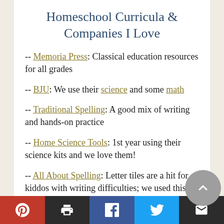Homeschool Curricula & Companies I Love
-- Memoria Press: Classical education resources for all grades
-- BJU: We use their science and some math
-- Traditional Spelling: A good mix of writing and hands-on practice
-- Home Science Tools: 1st year using their science kits and we love them!
-- All About Spelling: Letter tiles are a hit for kiddos with writing difficulties; we used this